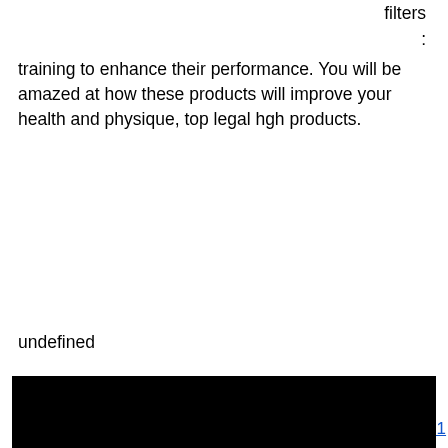filters training to enhance their performance. You will be amazed at how these products will improve your health and physique, top legal hgh products.
undefined
Similar articles:
https://www.karmenskollection.net/profile/dottyladage111913/profile
https://en.celpipedu.ca/profile/cameliawhittler77761/profile
https://www.atelierstampala.com/profile/mohamedverble160976/profile
https://www.pklawgroup.com/profile/brettmilush59532/profile
[Figure (other): Black rectangle bar at the bottom of the page]